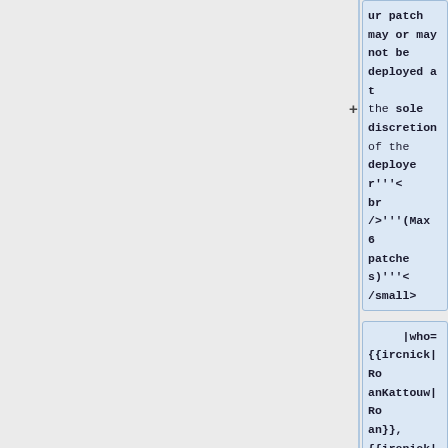ur patch may or may not be deployed at the sole discretion of the deployer'''<br />'''(Max 6 patches)'''</small>
|who={{ircnick|RoanKattouw|Roan}}, {{ircnick|Urbanecm|Martin}}, {{ircnick|cjming|Clare}}